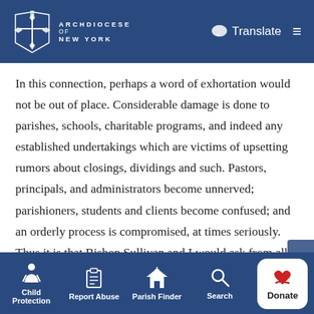Archdiocese of New York — Translate
In this connection, perhaps a word of exhortation would not be out of place. Considerable damage is done to parishes, schools, charitable programs, and indeed any established undertakings which are victims of upsetting rumors about closings, dividings and such. Pastors, principals, and administrators become unnerved; parishioners, students and clients become confused; and an orderly process is compromised, at times seriously. Thus it is that Bishop Sullivan and I would ask from all of the clergy and laity of the archdiocese, first, their thoughtful participation in the
Child Protection | Report Abuse | Parish Finder | Search | Donate